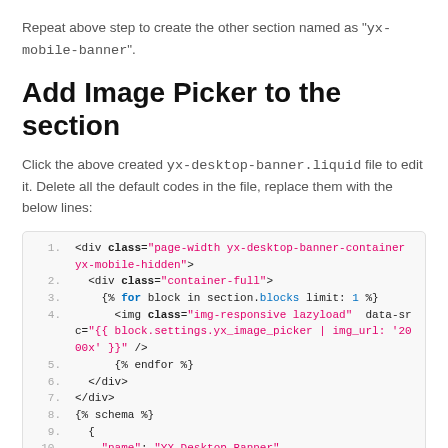Repeat above step to create the other section named as "yx-mobile-banner".
Add Image Picker to the section
Click the above created yx-desktop-banner.liquid file to edit it. Delete all the default codes in the file, replace them with the below lines:
[Figure (screenshot): Code block showing HTML/Liquid template code with line numbers 1-11. Contains div elements with classes, Liquid tags for loops and schema, and an img tag with lazy loading attributes.]